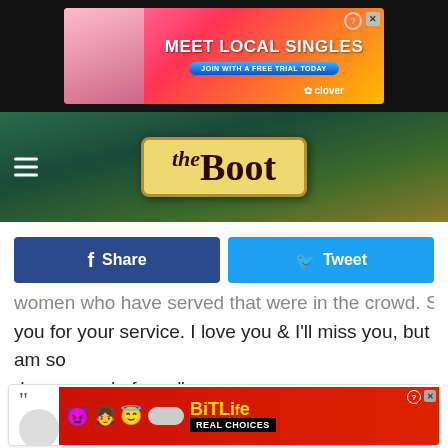[Figure (screenshot): Advertisement banner: MEET LOCAL SINGLES - Join with a free trial today - Clover app]
[Figure (logo): The Boot website logo on decorative background]
[Figure (screenshot): Facebook Share button (dark blue) and Tweet button (light blue) social sharing bar]
women who have served that were in the crowd. Shot, thank you for your service. I love you & I'll miss you, but am so damn proud of you."
[Figure (screenshot): Pull quote block with quotation mark, blurred avatar and name lines, and BitLife advertisement at bottom]